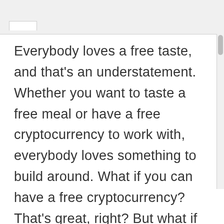Everybody loves a free taste, and that’s an understatement. Whether you want to taste a free meal or have a free cryptocurrency to work with, everybody loves something to build around. What if you can have a free cryptocurrency? That’s great, right? But what if that is a possibility rather than a miracle? If you want to know how to get free cryptocurrency,